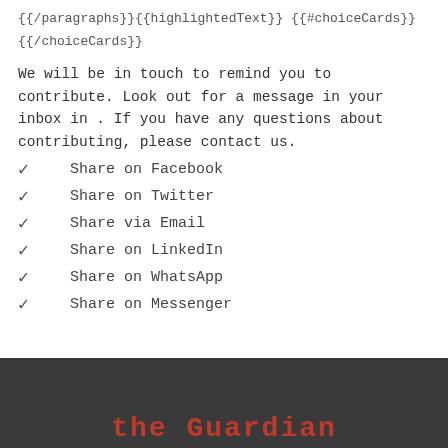{{/paragraphs}}{{highlightedText}} {{#choiceCards}}
{{/choiceCards}}
We will be in touch to remind you to contribute. Look out for a message in your inbox in . If you have any questions about contributing, please contact us.
✓   Share on Facebook
✓   Share on Twitter
✓   Share via Email
✓   Share on LinkedIn
✓   Share on WhatsApp
✓   Share on Messenger